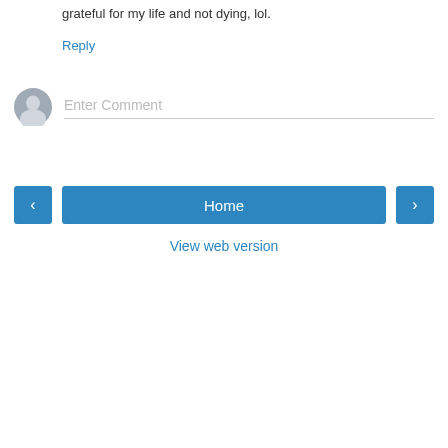grateful for my life and not dying, lol.
Reply
[Figure (other): User avatar placeholder — grey circular silhouette icon with comment input field below reading 'Enter Comment' with a grey underline border]
Enter Comment
< Home >
View web version